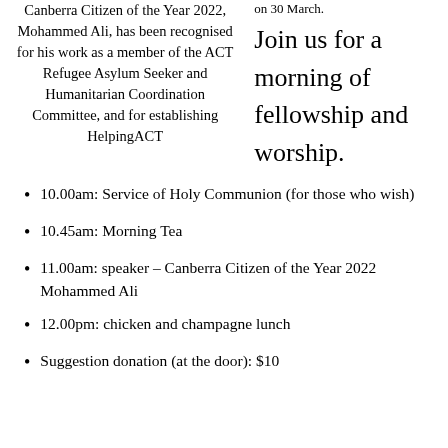Canberra Citizen of the Year 2022, Mohammed Ali, has been recognised for his work as a member of the ACT Refugee Asylum Seeker and Humanitarian Coordination Committee, and for establishing HelpingACT
Join us for a morning of fellowship and worship.
10.00am: Service of Holy Communion (for those who wish)
10.45am: Morning Tea
11.00am: speaker – Canberra Citizen of the Year 2022 Mohammed Ali
12.00pm: chicken and champagne lunch
Suggestion donation (at the door): $10